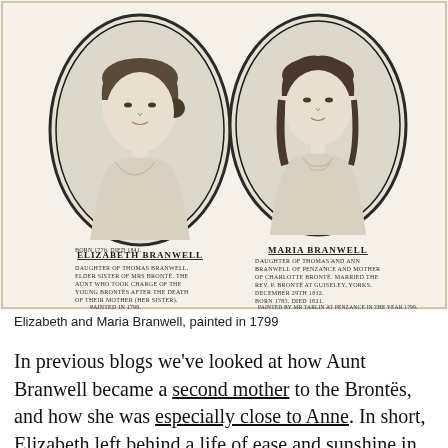[Figure (illustration): Two oval portrait miniatures side by side on a cream/sepia background. Left portrait: Elizabeth Branwell with caption text below. Right portrait: Maria Branwell with caption text below. Captions describe each woman's relation to the Brontë family, birth years, death years, and painting details.]
Elizabeth and Maria Branwell, painted in 1799
In previous blogs we've looked at how Aunt Branwell became a second mother to the Brontës, and how she was especially close to Anne. In short, Elizabeth left behind a life of ease and sunshine in Penzance...